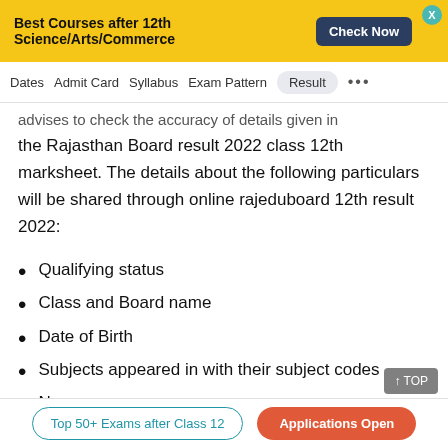Best Courses after 12th Science/Arts/Commerce   Check Now
Dates   Admit Card   Syllabus   Exam Pattern   Result   ...
advises to check the accuracy of details given in the Rajasthan Board result 2022 class 12th marksheet. The details about the following particulars will be shared through online rajeduboard 12th result 2022:
Qualifying status
Class and Board name
Date of Birth
Subjects appeared in with their subject codes
Name
Total marks obtained
Top 50+ Exams after Class 12   Applications Open